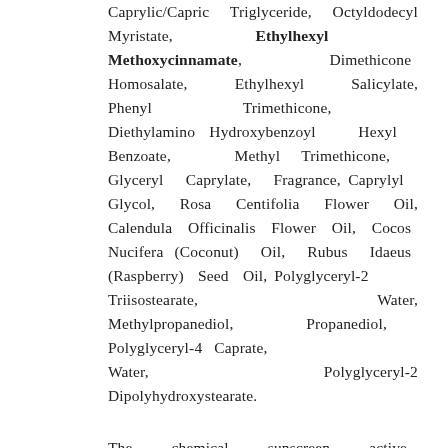Caprylic/Capric Triglyceride, Octyldodecyl Myristate, Ethylhexyl Methoxycinnamate, Dimethicone Homosalate, Ethylhexyl Salicylate, Phenyl Trimethicone, Diethylamino Hydroxybenzoyl Hexyl Benzoate, Methyl Trimethicone, Glyceryl Caprylate, Fragrance, Caprylyl Glycol, Rosa Centifolia Flower Oil, Calendula Officinalis Flower Oil, Cocos Nucifera (Coconut) Oil, Rubus Idaeus (Raspberry) Seed Oil, Polyglyceryl-2 Triisostearate, Water, Methylpropanediol, Propanediol, Polyglyceryl-4 Caprate, Water, Polyglyceryl-2 Dipolyhydroxystearate.
The chemical sunscreen active, Ethylhexyl Methoxycinnamate, absorbs primarily UVB rays, rather than bouncing them back into the atmosphere. I've been prone in the past to